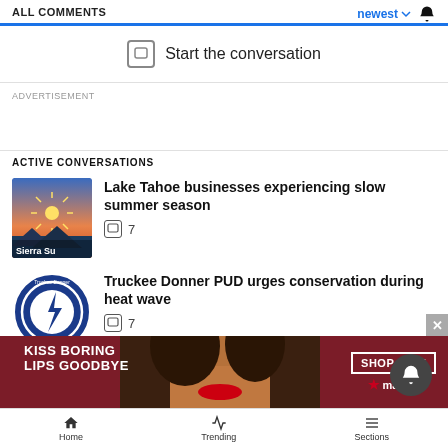ALL COMMENTS
newest
Start the conversation
ADVERTISEMENT
ACTIVE CONVERSATIONS
Lake Tahoe businesses experiencing slow summer season  7
Truckee Donner PUD urges conservation during heat wave  7
[Figure (screenshot): Sierra Sun thumbnail image showing mountain sunset scene]
[Figure (logo): Truckee Donner Public Utility District circular logo with lightning bolt]
[Figure (photo): Macy's advertisement: KISS BORING LIPS GOODBYE with SHOP NOW button and woman with red lips]
Home   Trending   Sections